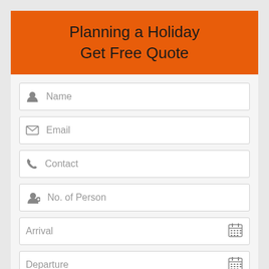Planning a Holiday
Get Free Quote
Name
Email
Contact
No. of Person
Arrival
Departure
Preferred Hotel Category
Any other preference
Get Quote